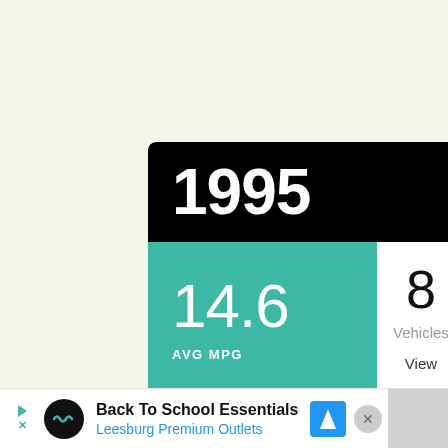1995
14.6 AVG MPG
8 Vehicles
View
Back To School Essentials Leesburg Premium Outlets